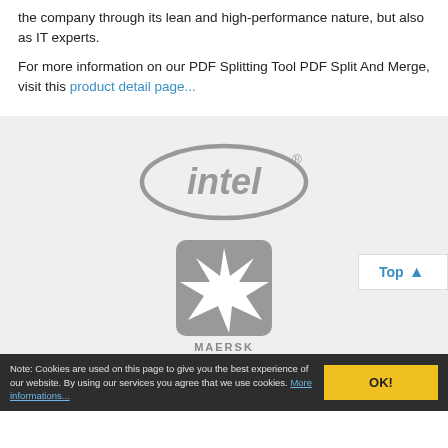the company through its lean and high-performance nature, but also as IT experts.
For more information on our PDF Splitting Tool PDF Split And Merge, visit this product detail page...
[Figure (logo): Intel logo in gray]
[Figure (logo): Maersk logo: rounded square with star, gray, with MAERSK text below]
[Figure (other): Gray diamond/arrow shape pointing down]
Note: Cookies are used on this page to give you the best experience of our website. By using our services you agree that we use cookies. More informations...